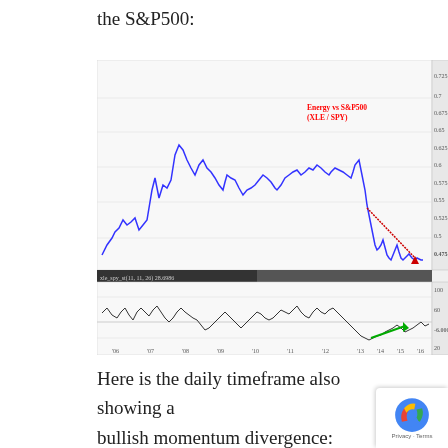the S&P500:
[Figure (continuous-plot): Line chart showing Energy vs S&P500 ratio (XLE/SPY) over time with a bullish momentum divergence. The main panel shows the XLE/SPY ratio as a blue line with a sharp downtrend at the right side, and a red downtrend arrow. Below is a momentum oscillator panel with a green uptrend arrow indicating bullish divergence. Legend in red text reads 'Energy vs S&P500 (XLE / SPY)'.]
Here is the daily timeframe also showing a bullish momentum divergence: